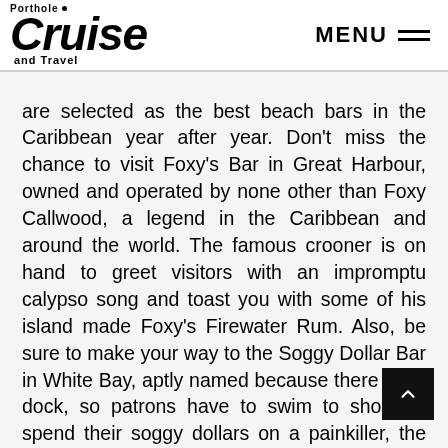Porthole Cruise and Travel | MENU
are selected as the best beach bars in the Caribbean year after year. Don't miss the chance to visit Foxy's Bar in Great Harbour, owned and operated by none other than Foxy Callwood, a legend in the Caribbean and around the world. The famous crooner is on hand to greet visitors with an impromptu calypso song and toast you with some of his island made Foxy's Firewater Rum. Also, be sure to make your way to the Soggy Dollar Bar in White Bay, aptly named because there is no dock, so patrons have to swim to shore to spend their soggy dollars on a painkiller, the BVI's delicious, cocktail that was invented by the Soggy Dollar Bar!